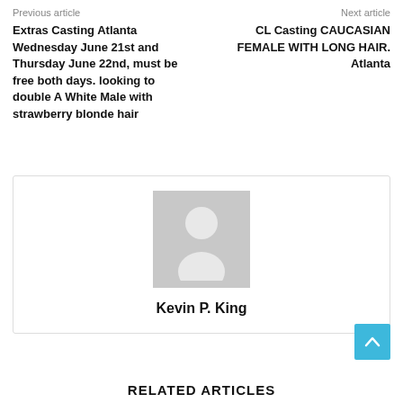Previous article | Next article
Extras Casting Atlanta Wednesday June 21st and Thursday June 22nd, must be free both days. looking to double A White Male with strawberry blonde hair
CL Casting CAUCASIAN FEMALE WITH LONG HAIR. Atlanta
[Figure (illustration): Default avatar/profile placeholder image — grey silhouette of a person on light grey background]
Kevin P. King
RELATED ARTICLES